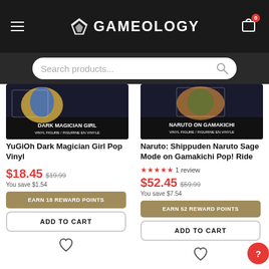GAMEOLOGY
Search products...
[Figure (screenshot): YuGiOh Dark Magician Girl Pop Vinyl product image — anime box art on dark background]
YuGiOh Dark Magician Girl Pop Vinyl
$18.45  $19.99  You save $1.54
EARN 18 REWARD POINTS
ADD TO CART
[Figure (screenshot): Naruto: Shippuden Naruto Sage Mode on Gamakichi Pop! Ride product image — anime box art on dark background]
Naruto: Shippuden Naruto Sage Mode on Gamakichi Pop! Ride
★★★★★ 1 review
$52.45  $59.99  You save $7.54
EARN 52 REWARD POINTS
ADD TO CART
-1%
-8%